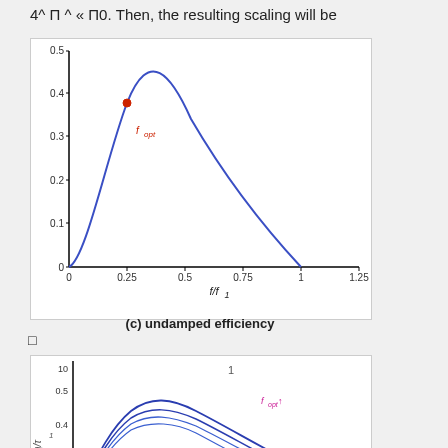4^ Π ^ « Π0. Then, the resulting scaling will be
[Figure (continuous-plot): Plot of undamped efficiency curve. Y-axis from 0 to 0.5, X-axis f/f_1 from 0 to 1.25. A single bell-shaped curve peaks near f/f_1=0.25 at y≈0.39, with a red dot marking the peak labeled f_opt. The curve descends to zero at f/f_1≈1.]
(c) undamped efficiency
□
[Figure (continuous-plot): Plot of damped efficiency curves. Y-axis (η/τ^1) from 0.1 to 10 with 0.5 marked, X-axis not fully visible. Multiple blue curves peak near f_opt (labeled in pink) around y≈0.4 and descend. η(d) label with upward arrow appears at lower right in pink.]